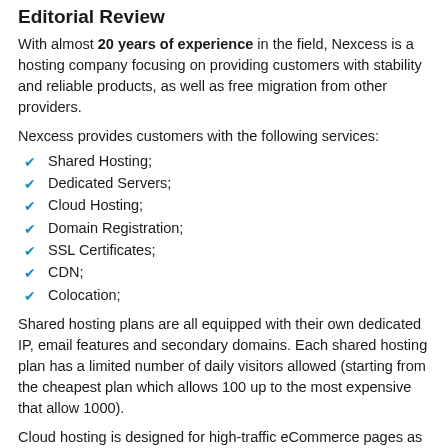Editorial Review
With almost 20 years of experience in the field, Nexcess is a hosting company focusing on providing customers with stability and reliable products, as well as free migration from other providers.
Nexcess provides customers with the following services:
Shared Hosting;
Dedicated Servers;
Cloud Hosting;
Domain Registration;
SSL Certificates;
CDN;
Colocation;
Shared hosting plans are all equipped with their own dedicated IP, email features and secondary domains. Each shared hosting plan has a limited number of daily visitors allowed (starting from the cheapest plan which allows 100 up to the most expensive that allow 1000).
Cloud hosting is designed for high-traffic eCommerce pages as well as small businesses. Cloud solutions are fully managed, flexible, PCI complaint and they include necessary tools for controlling and monitoring your page.